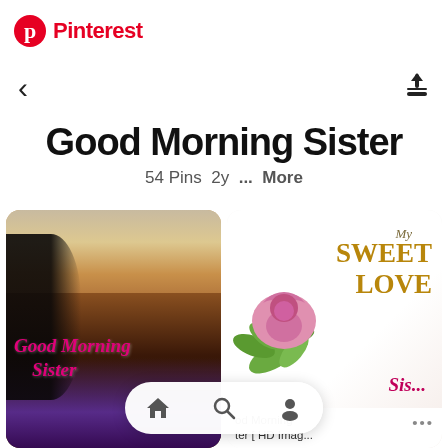Pinterest
Good Morning Sister
54 Pins 2y ... More
[Figure (photo): Left pin: sunset/dusk landscape with dark foliage silhouette and purple flowers at bottom, with pink cursive text 'Good Morning Sister']
[Figure (photo): Right pin: light background with pink rose illustration and gold text 'My SWEET LOVE' with pink cursive 'Sis...' below, caption reads 'od Morning ter [ HD Imag...']